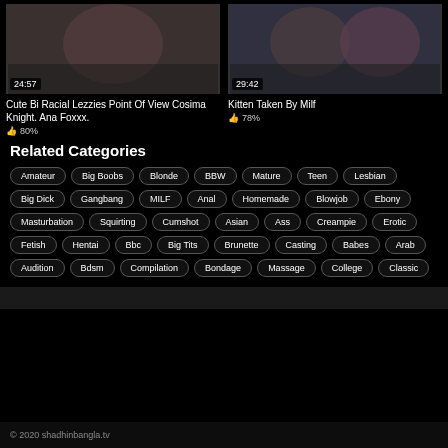[Figure (screenshot): Video thumbnail showing blonde woman, duration 24:57]
Cute Bi Racial Lezzies Point Of View Cosima Knight. Ana Foxxx.
👍 80%
[Figure (screenshot): Video thumbnail showing two women, duration 29:42]
Kitten Taken By Milf
👍 78%
Related Categories
Amateur
Big Boobs
Blonde
BBW
Mature
Teen
Lesbian
Big Dick
Gangbang
MILF
Anal
Homemade
Blowjob
Ebony
Masturbation
Squirting
Cumshot
Asian
Ass
Creampie
Erotic
Fetish
Hentai
Bbc
Big Tits
Brunette
Casting
Babes
Arab
Audition
Bdsm
Compilation
Bondage
Massage
College
Classic
© 2020 shadhinbangla.tv